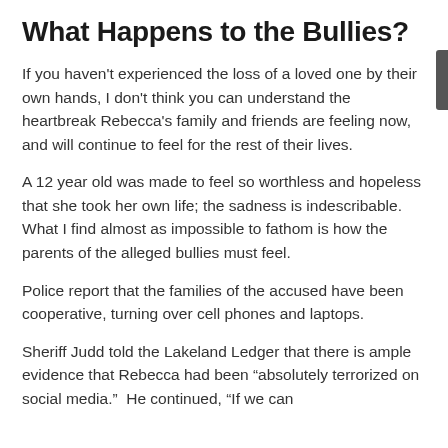What Happens to the Bullies?
If you haven't experienced the loss of a loved one by their own hands, I don't think you can understand the heartbreak Rebecca's family and friends are feeling now, and will continue to feel for the rest of their lives.
A 12 year old was made to feel so worthless and hopeless that she took her own life; the sadness is indescribable.  What I find almost as impossible to fathom is how the parents of the alleged bullies must feel.
Police report that the families of the accused have been cooperative, turning over cell phones and laptops.
Sheriff Judd told the Lakeland Ledger that there is ample evidence that Rebecca had been “absolutely terrorized on social media.”  He continued, “If we can